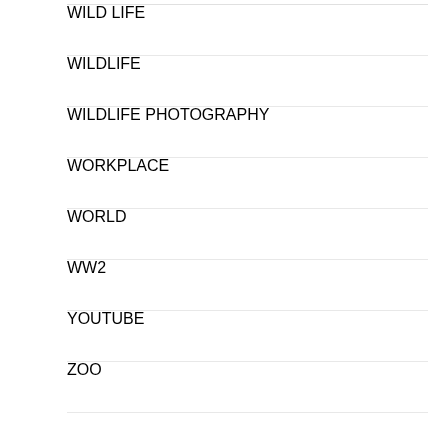WILD LIFE
WILDLIFE
WILDLIFE PHOTOGRAPHY
WORKPLACE
WORLD
WW2
YOUTUBE
ZOO